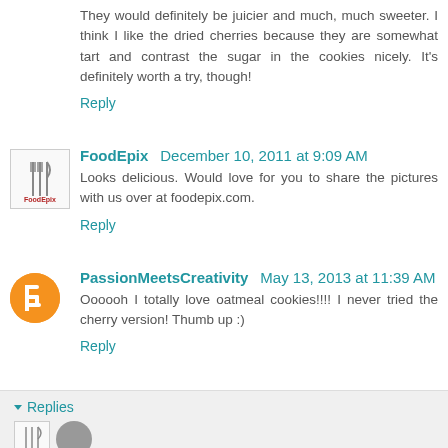They would definitely be juicier and much, much sweeter. I think I like the dried cherries because they are somewhat tart and contrast the sugar in the cookies nicely. It's definitely worth a try, though!
Reply
FoodEpix December 10, 2011 at 9:09 AM
Looks delicious. Would love for you to share the pictures with us over at foodepix.com.
Reply
PassionMeetsCreativity May 13, 2013 at 11:39 AM
Oooooh I totally love oatmeal cookies!!!! I never tried the cherry version! Thumb up :)
Reply
Replies